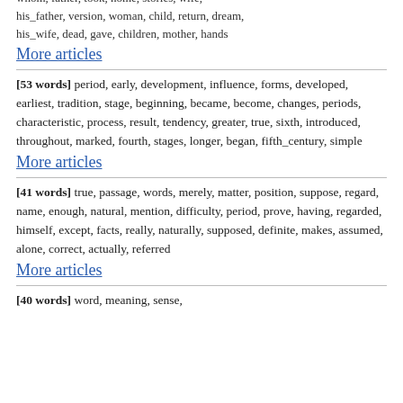whom, father, took, home, stories, wife, his_father, version, woman, child, return, dream, his_wife, dead, gave, children, mother, hands
More articles
[53 words] period, early, development, influence, forms, developed, earliest, tradition, stage, beginning, became, become, changes, periods, characteristic, process, result, tendency, greater, true, sixth, introduced, throughout, marked, fourth, stages, longer, began, fifth_century, simple
More articles
[41 words] true, passage, words, merely, matter, position, suppose, regard, name, enough, natural, mention, difficulty, period, prove, having, regarded, himself, except, facts, really, naturally, supposed, definite, makes, assumed, alone, correct, actually, referred
More articles
[40 words] word, meaning, sense,